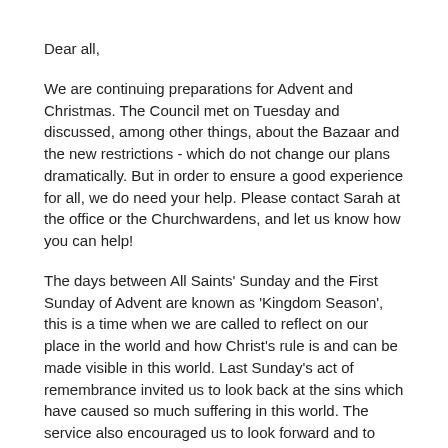Dear all,
We are continuing preparations for Advent and Christmas. The Council met on Tuesday and discussed, among other things, about the Bazaar and the new restrictions - which do not change our plans dramatically. But in order to ensure a good experience for all, we do need your help. Please contact Sarah at the office or the Churchwardens, and let us know how you can help!
The days between All Saints' Sunday and the First Sunday of Advent are known as 'Kingdom Season', this is a time when we are called to reflect on our place in the world and how Christ's rule is and can be made visible in this world. Last Sunday's act of remembrance invited us to look back at the sins which have caused so much suffering in this world. The service also encouraged us to look forward and to make a pledge to work for peace, justice, and reconciliation.
I wish to quote Queen Elizabeth II's speech at the inauguration of the Eleventh General Synod of the Church of England. While these were addressed to the Synod, the words speak to all of us as we are preparing for Christmas and the new year: